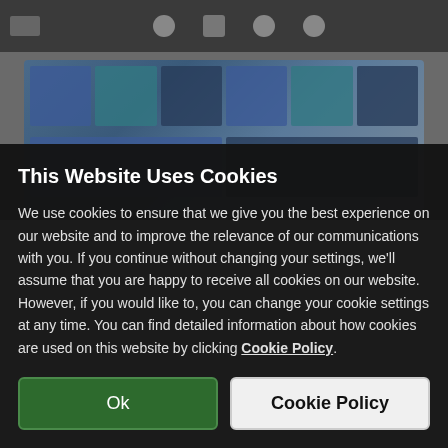[Figure (screenshot): Blurred website background showing a dark top navigation bar with icons and a grid of blurred thumbnail images below]
This Website Uses Cookies
We use cookies to ensure that we give you the best experience on our website and to improve the relevance of our communications with you. If you continue without changing your settings, we'll assume that you are happy to receive all cookies on our website. However, if you would like to, you can change your cookie settings at any time. You can find detailed information about how cookies are used on this website by clicking Cookie Policy.
Ok
Cookie Policy